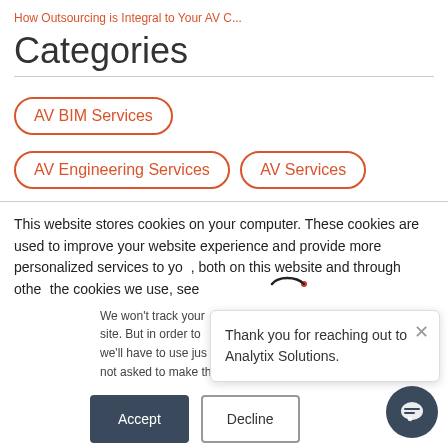How Outsourcing is Integral to Your AV C...
Categories
AV BIM Services
AV Engineering Services
AV Services
This website stores cookies on your computer. These cookies are used to improve your website experience and provide more personalized services to you, both on this website and through othe... the cookies we use, see c...
We won't track your... site. But in order to ... we'll have to use jus... not asked to make this choice again.
Thank you for reaching out to Analytix Solutions.